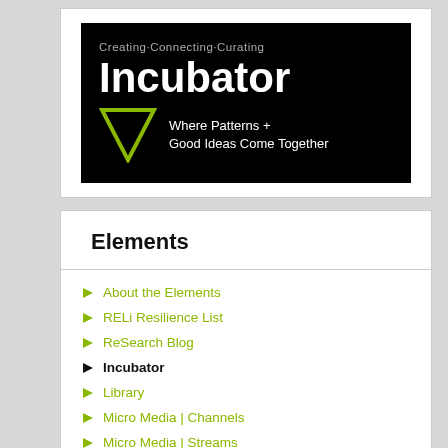[Figure (logo): Incubator logo on black background with text 'Creating·Connecting·Curating', large 'Incubator' title, green downward triangle, and tagline 'Where Patterns + Good Ideas Come Together']
Elements
About the Elements
RELi Resilience List
ReSearch Blog
Incubator
Library
Micro Media | Channels
Micro Media | Streams
Micro Media | Music